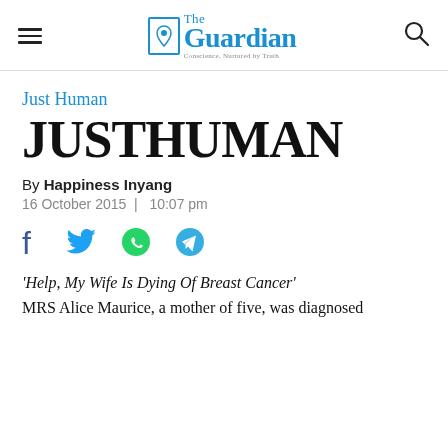The Guardian — Conscience, Nurtured by Truth
Just Human
JUSTHUMAN
By Happiness Inyang
16 October 2015  |  10:07 pm
[Figure (infographic): Social sharing icons: Facebook, Twitter, WhatsApp, Telegram]
'Help, My Wife Is Dying Of Breast Cancer'
MRS Alice Maurice, a mother of five, was diagnosed